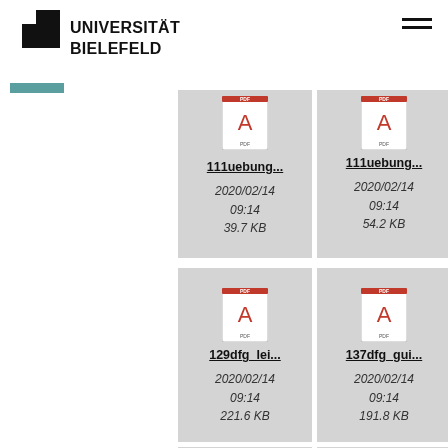UNIVERSITÄT BIELEFELD
[Figure (screenshot): File browser grid showing PDF file cards with icons, filenames, dates and sizes. Row 1: 111uebung... (2020/02/14 09:14, 39.7 KB), 111uebung... (2020/02/14 09:14, 54.2 KB), 129dfg_... (2020/0... 09:1... 191.8...). Row 2: 129dfg_lei... (2020/02/14 09:14, 221.6 KB), 137dfg_gui... (2020/02/14 09:14, 191.8 KB), 137dfg_... (2020/0... 09:1... 221.6...). Row 3: partial cards visible at bottom.]